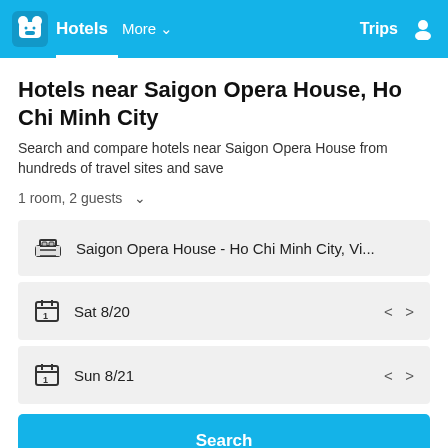Hotels | More | Trips
Hotels near Saigon Opera House, Ho Chi Minh City
Search and compare hotels near Saigon Opera House from hundreds of travel sites and save
1 room, 2 guests
Saigon Opera House - Ho Chi Minh City, Vi...
Sat 8/20
Sun 8/21
Search